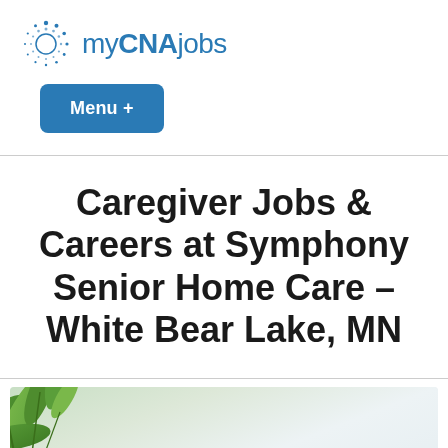[Figure (logo): myCNAjobs logo with dotted circle icon and blue text]
Menu +
Caregiver Jobs & Careers at Symphony Senior Home Care – White Bear Lake, MN
[Figure (photo): Photo with green plant leaves in top-left corner and myCNAjobs Caregiver Blog logo overlay at the bottom]